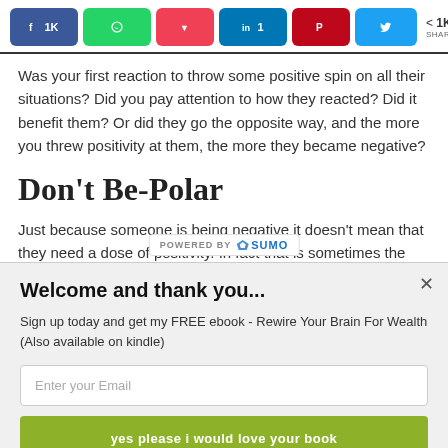[Figure (infographic): Social sharing bar with Facebook (1K), WhatsApp, Pocket, LinkedIn (1), Pinterest, Twitter buttons and a share count of 1K SHARES]
Was your first reaction to throw some positive spin on all their situations? Did you pay attention to how they reacted? Did it benefit them? Or did they go the opposite way, and the more you threw positivity at them, the more they became negative?
Don't Be-Polar
Just because someone is being negative it doesn't mean that they need a dose of positivity. In fact that is sometimes the worst thing
[Figure (logo): POWERED BY SUMO banner overlay]
Welcome and thank you...
Sign up today and get my FREE ebook - Rewire Your Brain For Wealth (Also available on kindle)
Enter your Email
yes please i would love your book